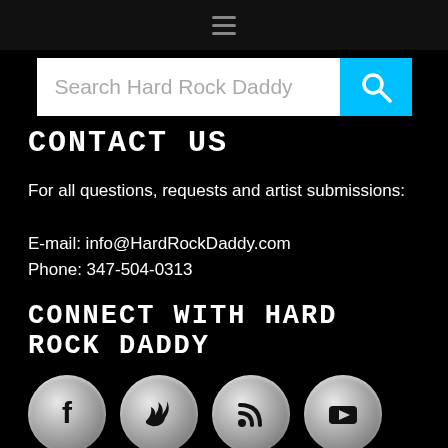[Figure (screenshot): Top navigation bar with hamburger menu icon (three horizontal lines)]
[Figure (screenshot): Search bar with placeholder text 'Search Hard Rock Daddy' and a cyan search button with magnifying glass icon]
Contact Us
For all questions, requests and artist submissions:
E-mail: info@HardRockDaddy.com
Phone: 347-504-0313
Connect with Hard Rock Daddy
[Figure (infographic): Four social media icon buttons (Facebook, Twitter, RSS, YouTube) rendered as silver metallic circles with black icons]